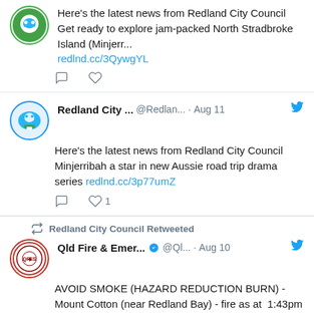[Figure (screenshot): Partial tweet from Redland City Council with avatar logo (green circle with bull icon), text about North Stradbroke Island, link redlnd.cc/3QywgYL, reply and like icons]
Here's the latest news from Redland City Council Get ready to explore jam-packed North Stradbroke Island (Minjerr... redlnd.cc/3QywgYL
[Figure (screenshot): Tweet from Redland City Council @Redlan... Aug 11 with blue Twitter bird, text about Minjerribah road trip drama series, link redlnd.cc/3p77umZ, reply and 1 like icons]
Redland City ... @Redlan... · Aug 11
Here's the latest news from Redland City Council Minjerribah a star in new Aussie road trip drama series redlnd.cc/3p77umZ
Redland City Council Retweeted
[Figure (screenshot): Retweeted tweet from Qld Fire & Emer... @Ql... Aug 10, verified badge, AVOID SMOKE (HAZARD REDUCTION BURN) - Mount Cotton (near Redland Bay) - fire as at 1:43pm Wednesday, 10 August 2022. For all current warnings, updates and mapping go to qfes.qld.gov.au/Current-Inside]
Qld Fire & Emer... @Ql... · Aug 10
AVOID SMOKE (HAZARD REDUCTION BURN) - Mount Cotton (near Redland Bay) - fire as at  1:43pm Wednesday, 10 August 2022.
For all current warnings, updates and mapping go to qfes.qld.gov.au/Current-Inside